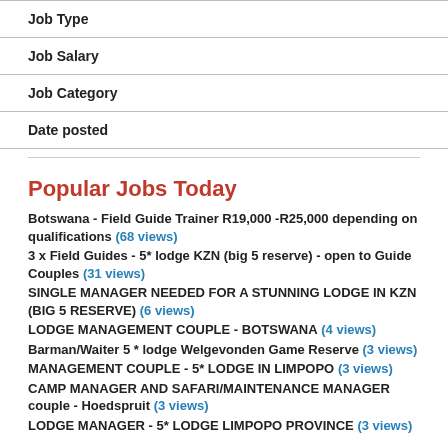| Job Type |
| Job Salary |
| Job Category |
| Date posted |
Popular Jobs Today
Botswana - Field Guide Trainer R19,000 -R25,000 depending on qualifications (68 views)
3 x Field Guides - 5* lodge KZN (big 5 reserve) - open to Guide Couples (31 views)
SINGLE MANAGER NEEDED FOR A STUNNING LODGE IN KZN (BIG 5 RESERVE) (6 views)
LODGE MANAGEMENT COUPLE - BOTSWANA (4 views)
Barman/Waiter 5 * lodge Welgevonden Game Reserve (3 views)
MANAGEMENT COUPLE - 5* LODGE IN LIMPOPO (3 views)
CAMP MANAGER AND SAFARI/MAINTENANCE MANAGER couple - Hoedspruit (3 views)
LODGE MANAGER - 5* LODGE LIMPOPO PROVINCE (3 views)